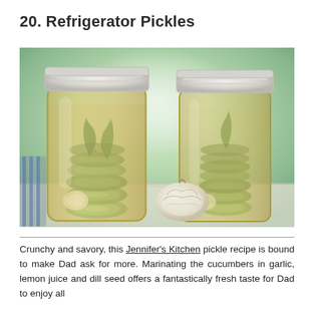20. Refrigerator Pickles
[Figure (photo): Two glass mason jars filled with sliced cucumber pickles in brine with dill and spices, with a head of garlic resting between them, photographed on a light surface with a soft green blurred background.]
Crunchy and savory, this Jennifer's Kitchen pickle recipe is bound to make Dad ask for more. Marinating the cucumbers in garlic, lemon juice and dill seed offers a fantastically fresh taste for Dad to enjoy all